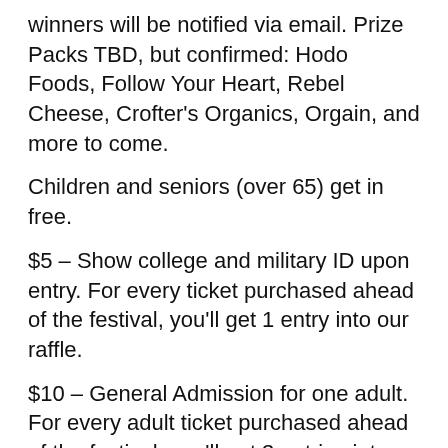winners will be notified via email. Prize Packs TBD, but confirmed: Hodo Foods, Follow Your Heart, Rebel Cheese, Crofter's Organics, Orgain, and more to come.
Children and seniors (over 65) get in free.
$5 – Show college and military ID upon entry. For every ticket purchased ahead of the festival, you'll get 1 entry into our raffle.
$10 – General Admission for one adult. For every adult ticket purchased ahead of the festival, you'll get 3 entries into our raffle.
Only tickets purchased ahead of the festival will be entered into the raffle.